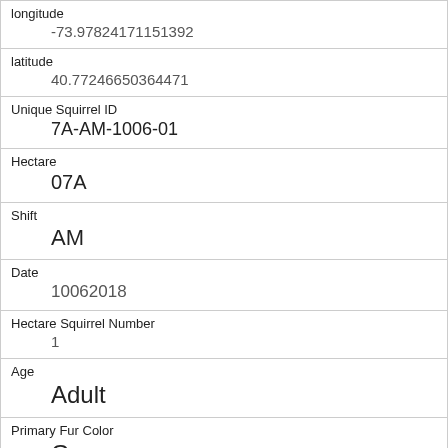| longitude | -73.97824171151392 |
| latitude | 40.77246650364471 |
| Unique Squirrel ID | 7A-AM-1006-01 |
| Hectare | 07A |
| Shift | AM |
| Date | 10062018 |
| Hectare Squirrel Number | 1 |
| Age | Adult |
| Primary Fur Color | Gray |
| Highlight Fur Color | White |